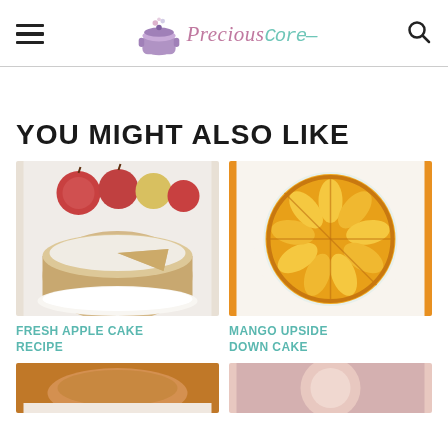Precious Core - navigation header with hamburger menu, logo, and search icon
YOU MIGHT ALSO LIKE
[Figure (photo): Fresh apple cake on a plate with red and green apples in the background, dusted with powdered sugar]
FRESH APPLE CAKE RECIPE
[Figure (photo): Mango upside down cake viewed from above, showing sliced mango pieces arranged on top of the round cake]
MANGO UPSIDE DOWN CAKE
[Figure (photo): Partial view of another cake - bottom left card, cropped]
[Figure (photo): Partial view of another dish - bottom right card, cropped]